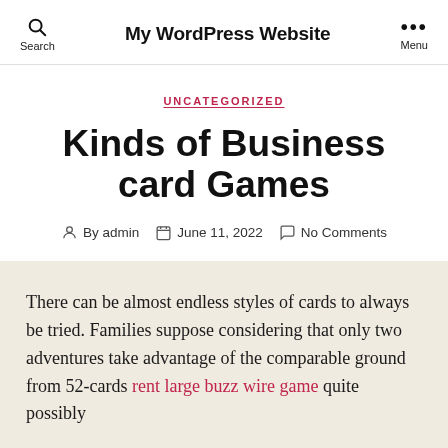My WordPress Website
UNCATEGORIZED
Kinds of Business card Games
By admin  June 11, 2022  No Comments
There can be almost endless styles of cards to always be tried. Families suppose considering that only two adventures take advantage of the comparable ground from 52-cards rent large buzz wire game quite possibly